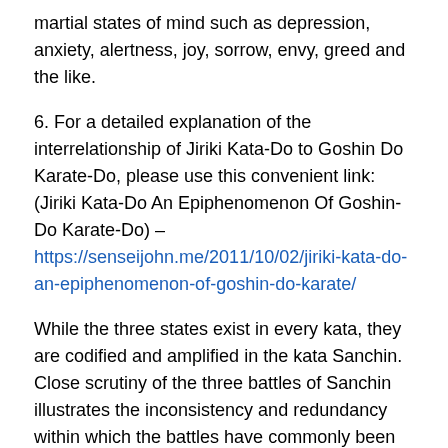martial states of mind such as depression, anxiety, alertness, joy, sorrow, envy, greed and the like.
6. For a detailed explanation of the interrelationship of Jiriki Kata-Do to Goshin Do Karate-Do, please use this convenient link: (Jiriki Kata-Do An Epiphenomenon Of Goshin-Do Karate-Do) – https://senseijohn.me/2011/10/02/jiriki-kata-do-an-epiphenomenon-of-goshin-do-karate/
While the three states exist in every kata, they are codified and amplified in the kata Sanchin. Close scrutiny of the three battles of Sanchin illustrates the inconsistency and redundancy within which the battles have commonly been defined. My research into, practice of and examination of the three battles of Sanchin results in the commonly accepted three battles being rejected and redefined as the